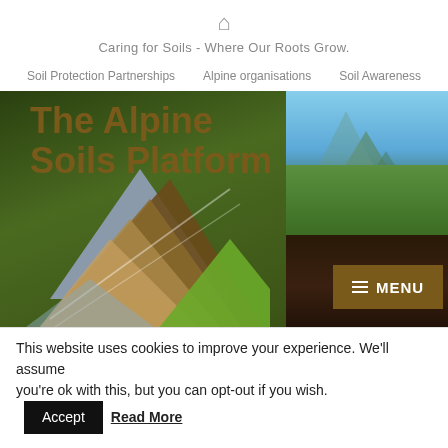🏠
Caring for Soils - Where Our Roots Grow.
Soil Protection Partnerships   Alpine organisations   Soil Awareness
The Alpine Soils Platform
[Figure (logo): Alpine Soils Platform logo with layered mountain triangles in gray, brown shades, and green, alongside a scenic alpine photograph showing mountains, grass and soil]
MENU
This website uses cookies to improve your experience. We'll assume you're ok with this, but you can opt-out if you wish.
Accept   Read More